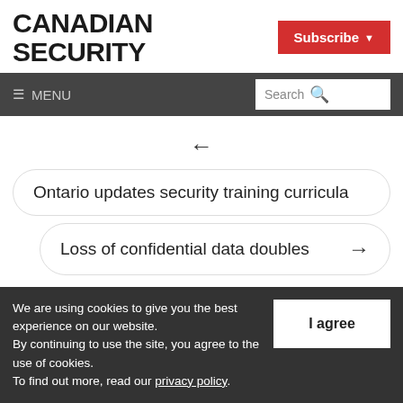CANADIAN SECURITY
Subscribe
≡ MENU  Search
←
Ontario updates security training curricula
Loss of confidential data doubles →
We are using cookies to give you the best experience on our website. By continuing to use the site, you agree to the use of cookies. To find out more, read our privacy policy.
I agree